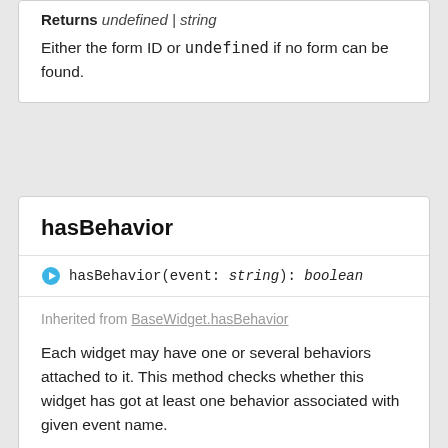Returns undefined | string
Either the form ID or undefined if no form can be found.
hasBehavior
hasBehavior(event: string): boolean
Inherited from BaseWidget.hasBehavior
Each widget may have one or several behaviors attached to it. This method checks whether this widget has got at least one behavior associated with given event name.
A behavior is a way for associating client-side scripts with UI components that opens all sorts of possibilities, including client-side validation, DOM and style manipulation, keyboard handling, and more. When the behavior is triggered, the